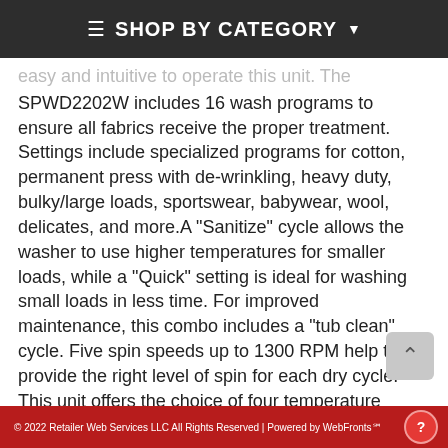≡ SHOP BY CATEGORY ▾
easy and intuitive to operate this unit. The SPWD2202W includes 16 wash programs to ensure all fabrics receive the proper treatment. Settings include specialized programs for cotton, permanent press with de-wrinkling, heavy duty, bulky/large loads, sportswear, babywear, wool, delicates, and more.A "Sanitize" cycle allows the washer to use higher temperatures for smaller loads, while a "Quick" setting is ideal for washing small loads in less time. For improved maintenance, this combo includes a "tub clean" cycle. Five spin speeds up to 1300 RPM help to provide the right level of spin for each dry cycle. This unit offers the choice of four temperature settings and three soil levels, as well as a memory function ("My Cycle") for added convenience. With its quality performance, large capacity, and
© 2022 Retailer Web Services LLC All Rights Reserved | Powered by WebFronts℠